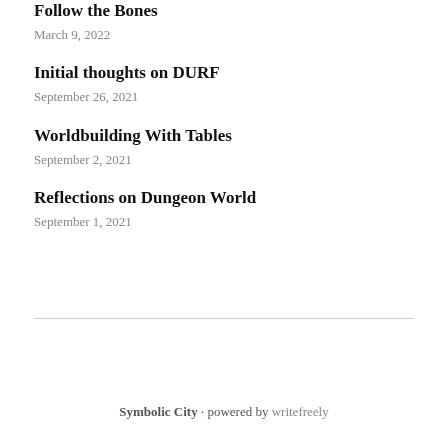Follow the Bones
March 9, 2022
Initial thoughts on DURF
September 26, 2021
Worldbuilding With Tables
September 2, 2021
Reflections on Dungeon World
September 1, 2021
Symbolic City · powered by writefreely